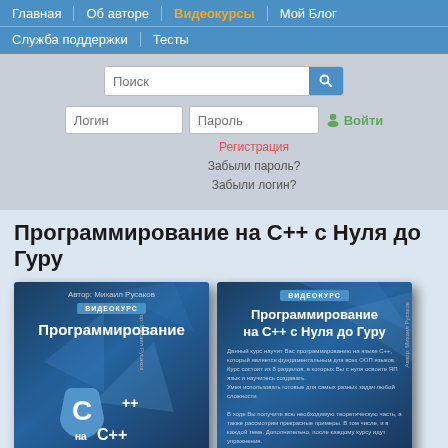Главная | Об авторе | Видеокурсы | Мой Блог | Служба поддержки | Тесты
[Figure (screenshot): Search box with magnifier button and login/password fields with registration links]
Программирование на С++ с Нуля до Гуру
[Figure (photo): Two book covers for C++ programming video course by Mikhail Rusakov]